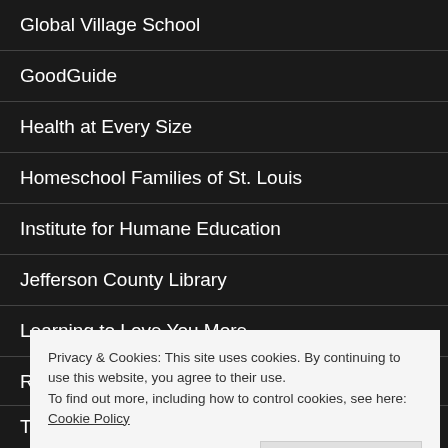Global Village School
GoodGuide
Health at Every Size
Homeschool Families of St. Louis
Institute for Humane Education
Jefferson County Library
Learning to Love You More
Roots and Shoots
St. Louis Homeschool Events
Privacy & Cookies: This site uses cookies. By continuing to use this website, you agree to their use.
To find out more, including how to control cookies, see here: Cookie Policy
The Hunger Site